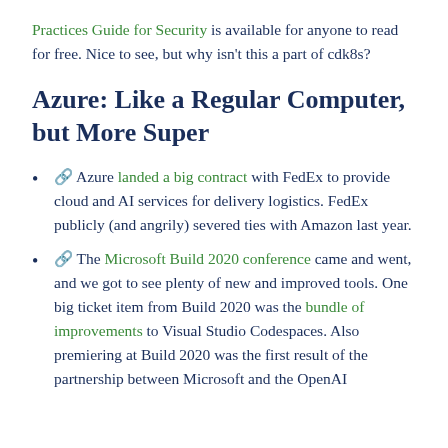Practices Guide for Security is available for anyone to read for free. Nice to see, but why isn't this a part of cdk8s?
Azure: Like a Regular Computer, but More Super
🔗 Azure landed a big contract with FedEx to provide cloud and AI services for delivery logistics. FedEx publicly (and angrily) severed ties with Amazon last year.
🔗 The Microsoft Build 2020 conference came and went, and we got to see plenty of new and improved tools. One big ticket item from Build 2020 was the bundle of improvements to Visual Studio Codespaces. Also premiering at Build 2020 was the first result of the partnership between Microsoft and the OpenAI